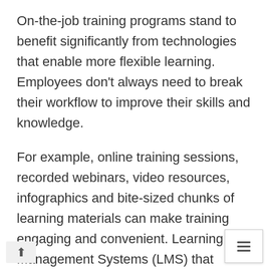On-the-job training programs stand to benefit significantly from technologies that enable more flexible learning. Employees don't always need to break their workflow to improve their skills and knowledge.
For example, online training sessions, recorded webinars, video resources, infographics and bite-sized chunks of learning materials can make training engaging and convenient. Learning Management Systems (LMS) that support all of these content and delivery formats make training more enjoyable for both facilitators and employees.